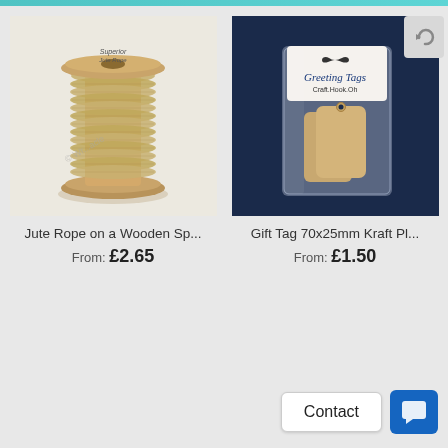[Figure (photo): Jute rope wound on a wooden spool, on a white background]
Jute Rope on a Wooden Sp...
From: £2.65
[Figure (photo): Kraft paper gift tags in a clear plastic packaging on a dark navy blue background, with a greeting tags label]
Gift Tag 70x25mm Kraft Pl...
From: £1.50
Contact